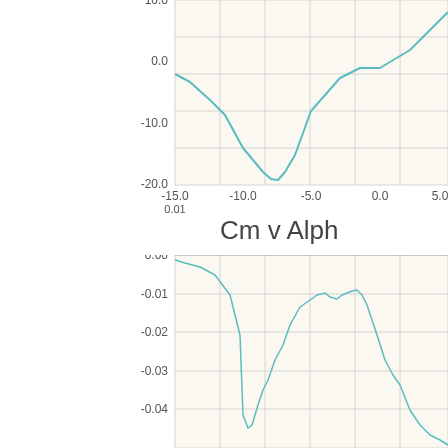[Figure (continuous-plot): Top chart (partially visible): a continuous curve plotted on a beige/cream background with gray grid. Y-axis shows values from -20.0 to 0.0 (and higher, partly cut off at top showing ~10.0). X-axis shows values from -15.0 to 5.0. The curve dips to a minimum near -18 at x≈-8, then rises. X-axis label reads '0.01' at bottom left.]
Cm v Alph
[Figure (continuous-plot): Bottom chart: 'Cm v Alpha' - a continuous noisy curve on beige/cream background with gray grid. Y-axis from 0.00 at top to below -0.04 at bottom. X-axis not fully visible. Curve starts near 0, dips around -0.045 then rises to a broad noisy peak around -0.015, then descends again toward bottom right.]